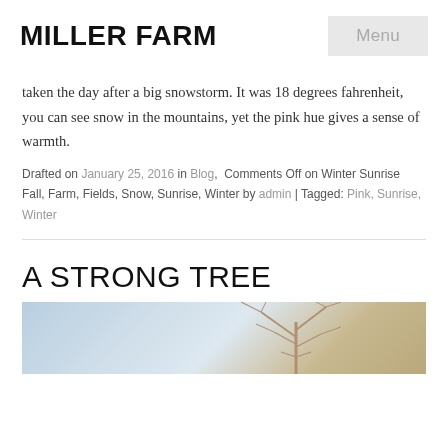MILLER FARM
taken the day after a big snowstorm. It was 18 degrees fahrenheit, you can see snow in the mountains, yet the pink hue gives a sense of warmth.
Drafted on January 25, 2016 in Blog, Comments Off on Winter Sunrise Fall, Farm, Fields, Snow, Sunrise, Winter by admin | Tagged: Pink, Sunrise, Winter
A STRONG TREE
[Figure (photo): Bottom portion of a winter tree photo with bare branches against a light blue/grey sky]